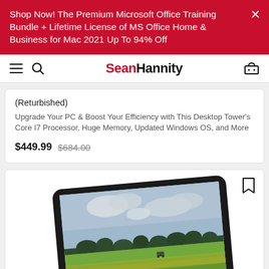Shop Now! The Premium Microsoft Office Training Bundle + Lifetime License of MS Office Home & Business for Mac 2021 Up To 94% Off
SeanHannity
(Returbished)
Upgrade Your PC & Boost Your Efficiency with This Desktop Tower's Core I7 Processor, Huge Memory, Updated Windows OS, and More
$449.99  $684.00
[Figure (photo): A tablet device displayed at an angle showing a landscape photo of a green field with trees and cloudy sky on its screen]